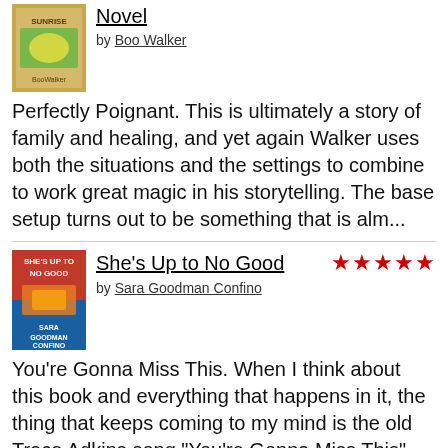Novel by Boo Walker
Perfectly Poignant. This is ultimately a story of family and healing, and yet again Walker uses both the situations and the settings to combine to work great magic in his storytelling. The base setup turns out to be something that is alm...
She's Up to No Good ★★★★★ by Sara Goodman Confino
You're Gonna Miss This. When I think about this book and everything that happens in it, the thing that keeps coming to my mind is the old Trace Adkins song "You're Gonna Miss This". You've got all kinds of things going on here - a 3os-is...
A Lot Like Forever ★★★★★ by Jennifer Snow